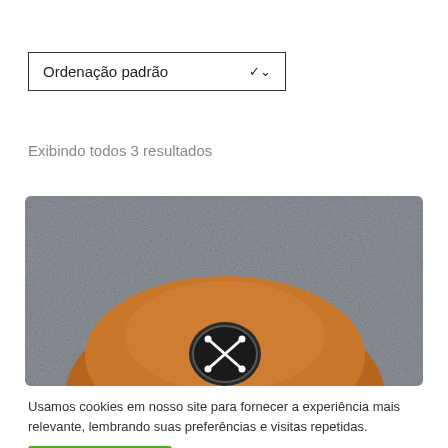[Figure (screenshot): Dropdown select box labeled 'Ordenação padrão' with a chevron arrow on the right]
Exibindo todos 3 resultados
[Figure (photo): Close-up photo of a brown leather cap/hat with a dark circular logo badge featuring crossed bones/arrows, against a gray textured background]
Usamos cookies em nosso site para fornecer a experiência mais relevante, lembrando suas preferências e visitas repetidas.
OK, FECHAR.